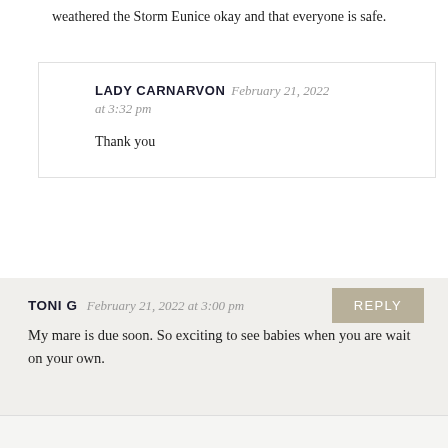weathered the Storm Eunice okay and that everyone is safe.
LADY CARNARVON February 21, 2022 at 3:32 pm
Thank you
TONI G February 21, 2022 at 3:00 pm
My mare is due soon. So exciting to see babies when you are wait on your own.